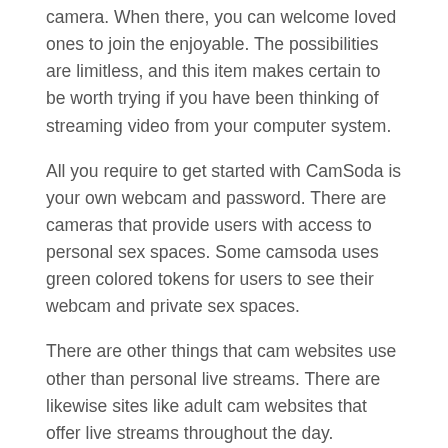camera. When there, you can welcome loved ones to join the enjoyable. The possibilities are limitless, and this item makes certain to be worth trying if you have been thinking of streaming video from your computer system.
All you require to get started with CamSoda is your own webcam and password. There are cameras that provide users with access to personal sex spaces. Some camsoda uses green colored tokens for users to see their webcam and private sex spaces.
There are other things that cam websites use other than personal live streams. There are likewise sites like adult cam websites that offer live streams throughout the day.
There are a number of various payment choices that a camera site uses its members. One choice is to pay monthly by the month. This will enable users to have access to the website and to deem many superior videos as they desire. A user may be able to